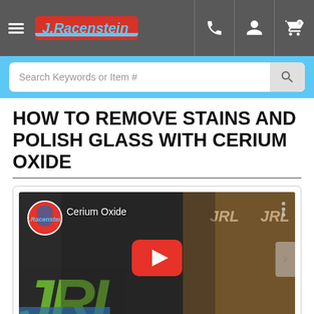J.Racenstein - Navigation bar with hamburger menu, logo, phone, account, and cart icons
Search Keywords or Item #
HOW TO REMOVE STAINS AND POLISH GLASS WITH CERIUM OXIDE
[Figure (screenshot): Embedded YouTube video thumbnail showing a man working with Cerium Oxide product, with J.Racenstein branding in the background and a YouTube play button overlay. Video title shows 'Cerium Oxide'.]